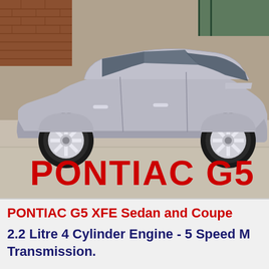[Figure (photo): Side profile photo of a silver Pontiac G5 sedan parked in front of a weathered stone/brick wall background. The car is silver with chrome five-spoke wheels. Text overlay at bottom reads 'PONTIAC G5' in large red bold text.]
PONTIAC G5 XFE Sedan and Coupe
2.2 Litre 4 Cylinder Engine - 5 Speed Manual Transmission.